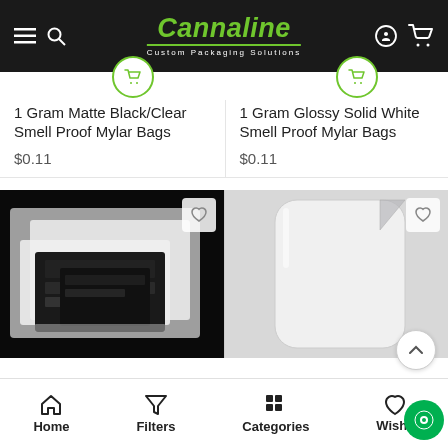Cannaline Custom Packaging Solutions
1 Gram Matte Black/Clear Smell Proof Mylar Bags
$0.11
1 Gram Glossy Solid White Smell Proof Mylar Bags
$0.11
[Figure (photo): Photo of multiple Mylar bags in black and clear styles stacked together on black background]
[Figure (photo): Photo of a white glossy mylar bag on light grey background]
Home   Filters   Categories   Wishlist